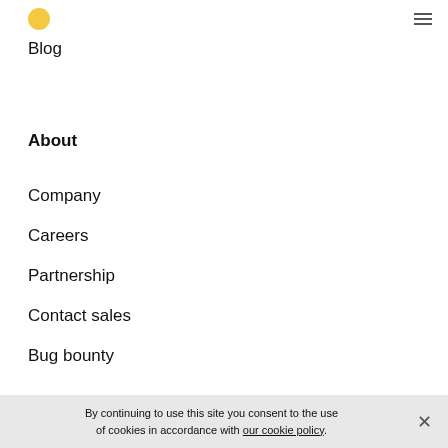Blog
About
Company
Careers
Partnership
Contact sales
Bug bounty
By continuing to use this site you consent to the use of cookies in accordance with our cookie policy.